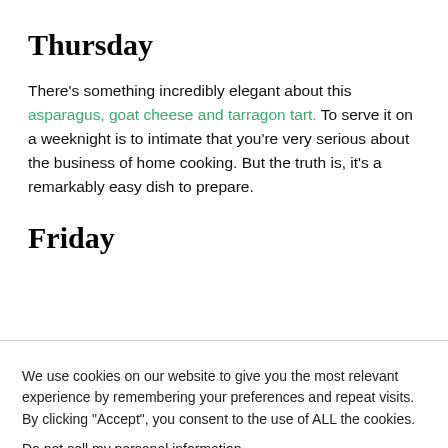Thursday
There's something incredibly elegant about this asparagus, goat cheese and tarragon tart. To serve it on a weeknight is to intimate that you're very serious about the business of home cooking. But the truth is, it's a remarkably easy dish to prepare.
Friday
We use cookies on our website to give you the most relevant experience by remembering your preferences and repeat visits. By clicking "Accept", you consent to the use of ALL the cookies.
Do not sell my personal information.